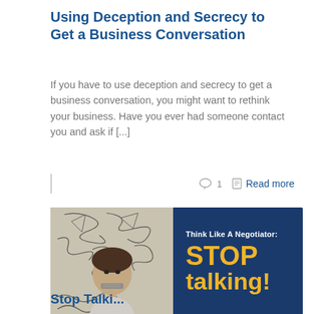Using Deception and Secrecy to Get a Business Conversation
If you have to use deception and secrecy to get a business conversation, you might want to rethink your business. Have you ever had someone contact you and ask if [...]
○ 1  ▣  Read more
[Figure (illustration): Banner image with dark navy blue background. Left half shows a photo of a man with tape over his mouth and chaotic doodles/scribbles around his head on a beige background. Right half shows text: 'Think Like A Negotiator:' in white, then 'STOP talking!' in large bold yellow/gold text.]
Stop Talki...